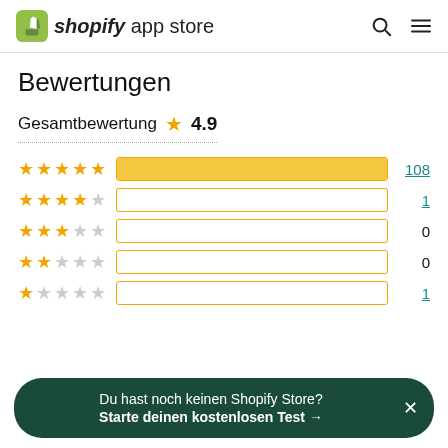shopify app store
Bewertungen
Gesamtbewertung ★ 4.9
[Figure (bar-chart): Rating distribution]
Du hast noch keinen Shopify Store? Starte deinen kostenlosen Test →